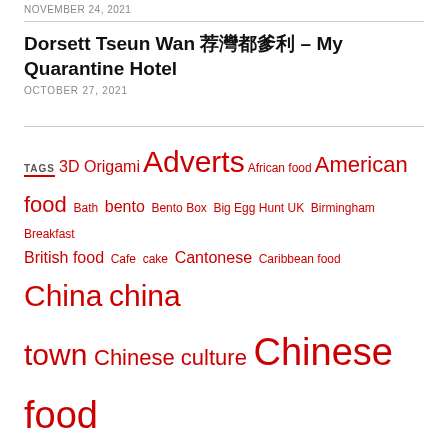NOVEMBER 24, 2021
Dorsett Tseun Wan 荃灣都爹利 – My Quarantine Hotel
OCTOBER 27, 2021
TAGS 3D Origami Adverts African food American food Bath bento Bento Box Big Egg Hunt UK Birmingham Breakfast British food Cafe cake Cantonese Caribbean food China china town Chinese culture Chinese food chocolate Comics concert confectionery cooking Cornwall Costa Del Sol Cotswolds crisps crochet Croydon cute store Czech food Dallas Desserts dim sum